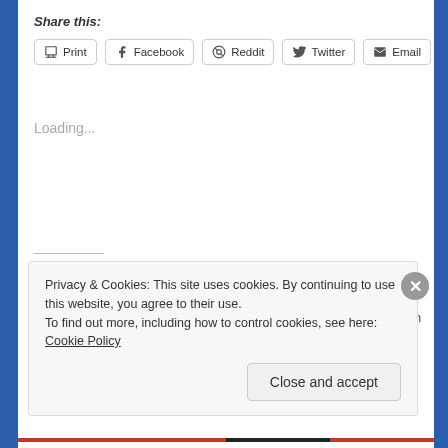Share this:
Print | Facebook | Reddit | Twitter | Email
Loading...
Related
Decree ~ Journey of the Evolved Self
April 14, 2020
In "Ascension Mastery
Decree ~ Journey into the Etheric City of Shashwam with Master Paul the Venetian
Privacy & Cookies: This site uses cookies. By continuing to use this website, you agree to their use.
To find out more, including how to control cookies, see here: Cookie Policy